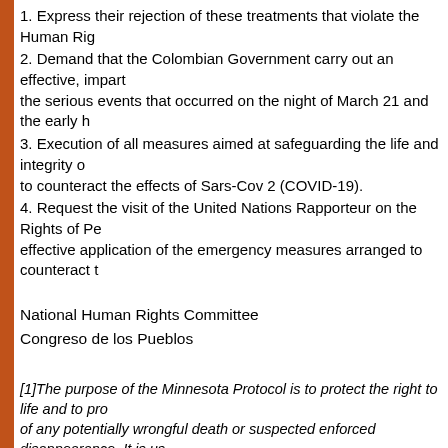1. Express their rejection of these treatments that violate the Human Rig...
2. Demand that the Colombian Government carry out an effective, impart... the serious events that occurred on the night of March 21 and the early h...
3. Execution of all measures aimed at safeguarding the life and integrity c... to counteract the effects of Sars-Cov 2 (COVID-19).
4. Request the visit of the United Nations Rapporteur on the Rights of Pe... effective application of the emergency measures arranged to counteract t...
National Human Rights Committee
Congreso de los Pueblos
[1]The purpose of the Minnesota Protocol is to protect the right to life and to pro... of any potentially wrongful death or suspected enforced disappearance. It is us... of the State, its organs or agents. This assumption includes, for example, all de... in other facilities where the State exercises greater control over their lives.
Author: Congreso de los pueblos
Français   Español